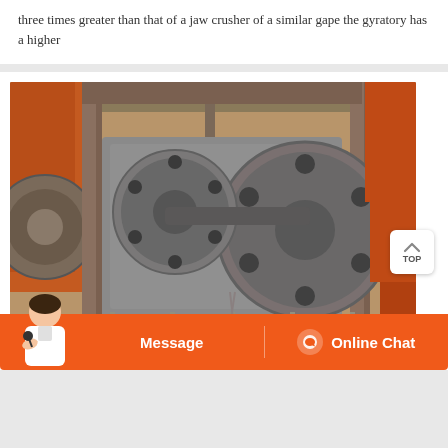three times greater than that of a jaw crusher of a similar gape the gyratory has a higher
[Figure (photo): Industrial jaw crusher machinery photographed outdoors under a steel frame structure. Shows large metal wheels/flywheels and crusher body with orange/rust-colored frame, surrounded by metal railings and structural steel columns.]